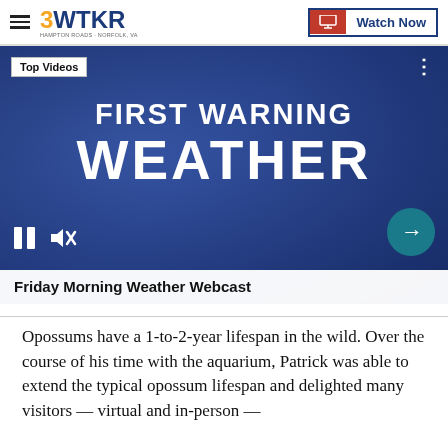3WTKR | Watch Now
[Figure (screenshot): Video player showing 'First Warning Weather' with 'Top Videos' badge, playback controls (pause, mute), next arrow button, and caption 'Friday Morning Weather Webcast']
Friday Morning Weather Webcast
Opossums have a 1-to-2-year lifespan in the wild. Over the course of his time with the aquarium, Patrick was able to extend the typical opossum lifespan and delighted many visitors — virtual and in-person —